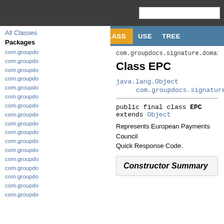com.groupdocs.signature.domain.extensions.ser
Class EPC
java.lang.Object
    com.groupdocs.signature.domain.extension
public final class EPC
extends Object
Represents European Payments Council Quick Response Code.
Constructor Summary
All Classes
Packages
com.groupdo
com.groupdo
com.groupdo
com.groupdo
com.groupdo
com.groupdo
com.groupdo
com.groupdo
com.groupdo
com.groupdo
com.groupdo
com.groupdo
com.groupdo
com.groupdo
com.groupdo
com.groupdo
com.groupdo